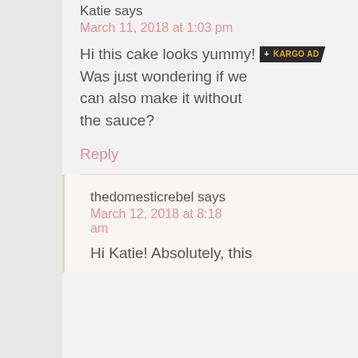Katie says
March 11, 2018 at 1:03 pm
Hi this cake looks yummy! Was just wondering if we can also make it without the sauce?
Reply
thedomesticrebel says
March 12, 2018 at 8:18 am
Hi Katie! Absolutely, this